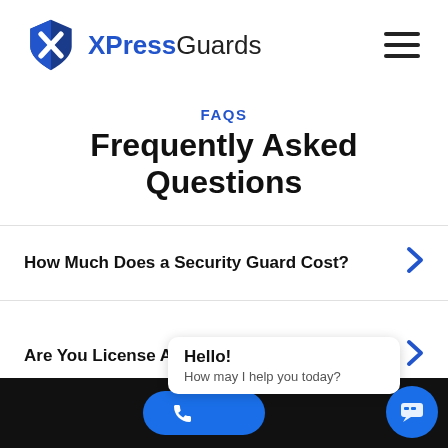[Figure (logo): XPressGuards logo with blue shield icon and text]
FAQS
Frequently Asked Questions
How Much Does a Security Guard Cost?
Are You License And Insured?
Hello! How may I help you today?